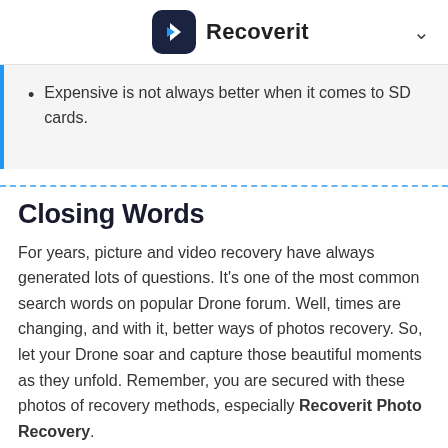Recoverit
Expensive is not always better when it comes to SD cards.
Closing Words
For years, picture and video recovery have always generated lots of questions. It's one of the most common search words on popular Drone forum. Well, times are changing, and with it, better ways of photos recovery. So, let your Drone soar and capture those beautiful moments as they unfold. Remember, you are secured with these photos of recovery methods, especially Recoverit Photo Recovery.